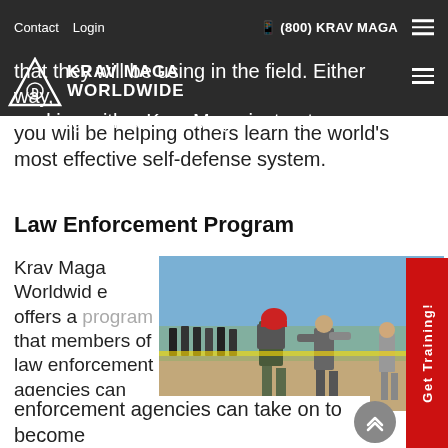Contact   Login   📟 (800) KRAV MAGA
that they will be using in the field. Either way, working with a Krav Maga instructor, you will be helping others learn the world's most effective self-defense system.
Law Enforcement Program
Krav Maga Worldwide offers a program that members of law enforcement agencies can take on to become
[Figure (photo): Outdoor Krav Maga law enforcement training session. Two people grappling in foreground — one wearing red helmet and tactical vest, being restrained. Group of observers in black uniforms in background. Dusty outdoor environment with blue sky.]
Get Training!